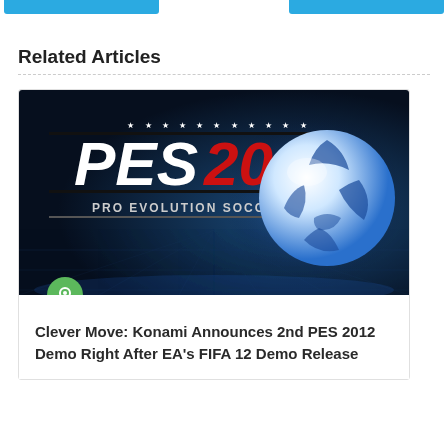[Figure (screenshot): Two blue navigation buttons at the top of the page]
Related Articles
[Figure (photo): PES 2012 Pro Evolution Soccer game cover art showing logo with stars and a blue/white soccer ball against a dark stadium background, with a green pin badge icon overlaid at bottom left]
Clever Move: Konami Announces 2nd PES 2012 Demo Right After EA's FIFA 12 Demo Release